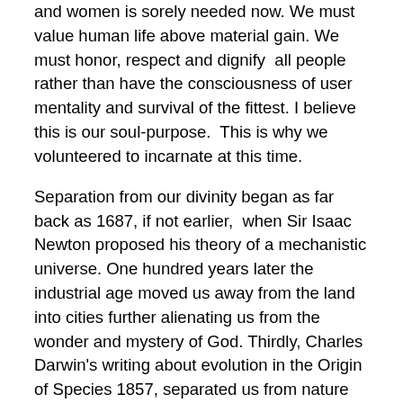and women is sorely needed now. We must value human life above material gain. We must honor, respect and dignify  all people rather than have the consciousness of user mentality and survival of the fittest. I believe this is our soul-purpose.  This is why we volunteered to incarnate at this time.
Separation from our divinity began as far back as 1687, if not earlier,  when Sir Isaac Newton proposed his theory of a mechanistic universe. One hundred years later the industrial age moved us away from the land into cities further alienating us from the wonder and mystery of God. Thirdly, Charles Darwin's writing about evolution in the Origin of Species 1857, separated us from nature even more, by erroneously leading us to believe that it is natural to prey on others in a dog eat dog world. These events form the backbone of our current lack of spirituality.